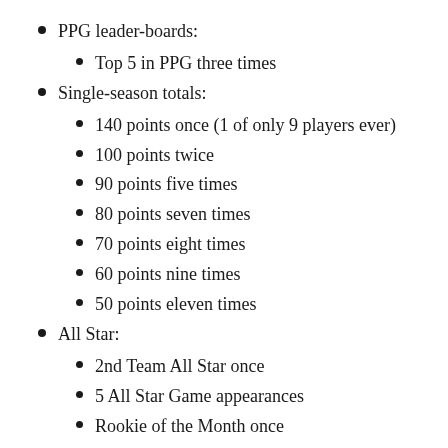PPG leader-boards:
Top 5 in PPG three times
Single-season totals:
140 points once (1 of only 9 players ever)
100 points twice
90 points five times
80 points seven times
70 points eight times
60 points nine times
50 points eleven times
All Star:
2nd Team All Star once
5 All Star Game appearances
Rookie of the Month once
VsX Peak: